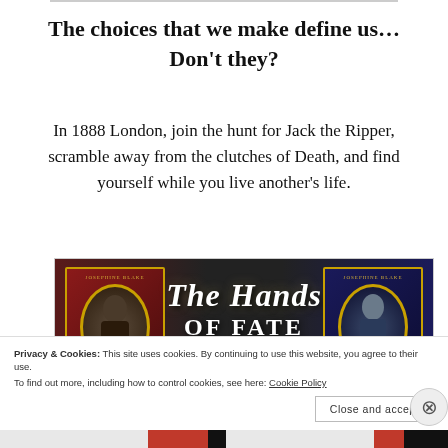The choices that we make define us… Don't they?
In 1888 London, join the hunt for Jack the Ripper, scramble away from the clutches of Death, and find yourself while you live another's life.
[Figure (photo): Book cover image showing 'The Hands of Fate' with ornate portrait frames on red and blue background, two book covers visible on left and right sides]
Privacy & Cookies: This site uses cookies. By continuing to use this website, you agree to their use.
To find out more, including how to control cookies, see here: Cookie Policy
Close and accept